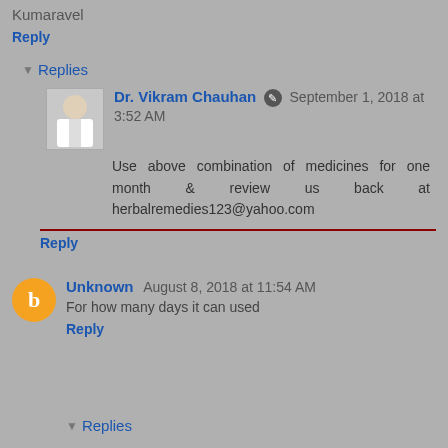Kumaravel
Reply
Replies
Dr. Vikram Chauhan September 1, 2018 at 3:52 AM
Use above combination of medicines for one month & review us back at herbalremedies123@yahoo.com
Reply
Unknown August 8, 2018 at 11:54 AM
For how many days it can used
Reply
Replies